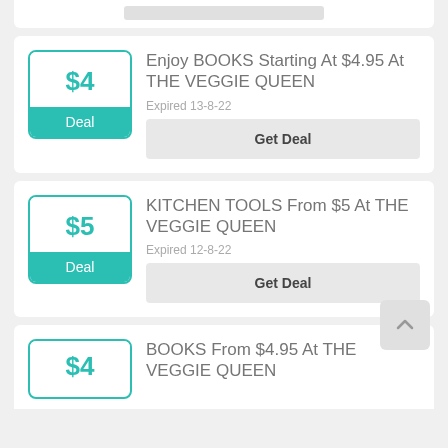Enjoy BOOKS Starting At $4.95 At THE VEGGIE QUEEN | Expired 13-8-22 | Get Deal
KITCHEN TOOLS From $5 At THE VEGGIE QUEEN | Expired 12-8-22 | Get Deal
BOOKS From $4.95 At THE VEGGIE QUEEN